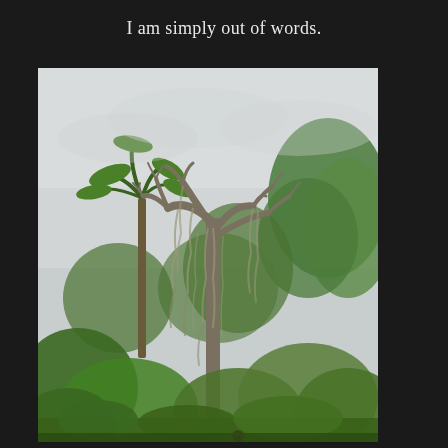I am simply out of words.
[Figure (photo): Outdoor nature photograph showing tall trees including a palm tree and a large dead tree draped with Spanish moss, surrounded by green leafy trees against an overcast sky. A person is barely visible at the bottom of the image.]